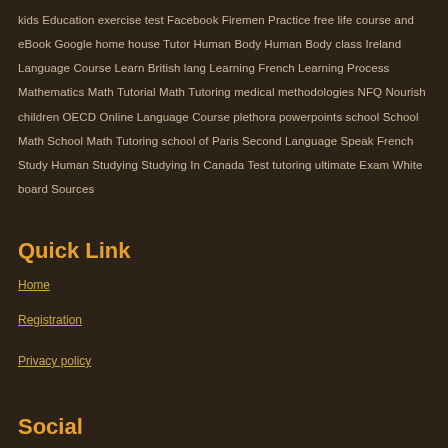kids Education exercise test Facebook Firemen Practice free life course and eBook Google home house Tutor Human Body Human Body class Ireland Language Course Learn British lang Learning French Learning Process Mathematics Math Tutorial Math Tutoring medical methodologies NFQ Nourish children OECD Online Language Course plethora powerpoints school School Math School Math Tutoring school of Paris Second Language Speak French Study Human Studying Studying In Canada Test tutoring ultimate Exam White board Sources
Quick Link
Home
Registration
Privacy policy
Social